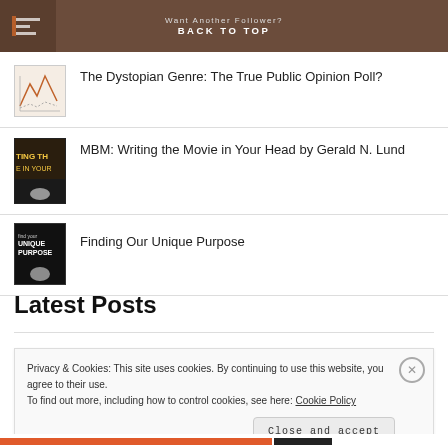Want Another Follower?
BACK TO TOP
The Dystopian Genre: The True Public Opinion Poll?
MBM: Writing the Movie in Your Head by Gerald N. Lund
Finding Our Unique Purpose
Latest Posts
Privacy & Cookies: This site uses cookies. By continuing to use this website, you agree to their use.
To find out more, including how to control cookies, see here: Cookie Policy
Close and accept